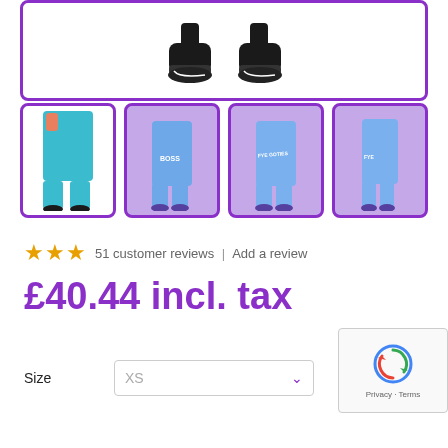[Figure (photo): Main product image showing bottom of leggings/shoes, cropped view with purple border]
[Figure (photo): Four thumbnail product images of leggings in teal/blue/purple colorways with purple borders]
★★★ 51 customer reviews | Add a review
£40.44 incl. tax
Size    XS  ∨
Clear